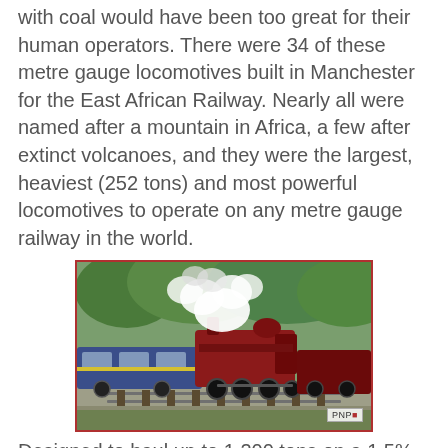with coal would have been too great for their human operators. There were 34 of these metre gauge locomotives built in Manchester for the East African Railway. Nearly all were named after a mountain in Africa, a few after extinct volcanoes, and they were the largest, heaviest (252 tons) and most powerful locomotives to operate on any metre gauge railway in the world.
[Figure (photo): A red steam locomotive pulling blue passenger carriages, with large billowing white steam clouds, travelling on a track lined with green trees and vegetation. A watermark 'PNP' appears in the bottom right corner.]
Designed to haul up to 1,200 tons on a 1.5% gradient they became the mainstay of freight transportation on the 330 mile run between Mombasa and Nairobi. They operated well into